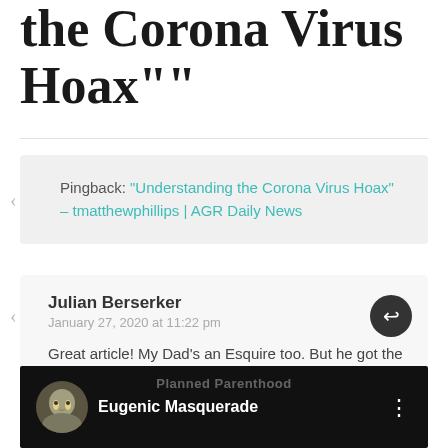the Corona Virus Hoax""
Pingback: "Understanding the Corona Virus Hoax" – tmatthewphillips | AGR Daily News
Julian Berserker
January 27, 2020 at 11:22 pm
Great article! My Dad's an Esquire too. But he got the degree and always implied that it was a requirement. What's your secret?
Here's my band Karma Patrol's video touching on some of the topics you cover. Hope you enjoy!
[Figure (screenshot): Video thumbnail for 'Eugenic Masquerade' with Planned Parenthood watermark and circular avatar image]